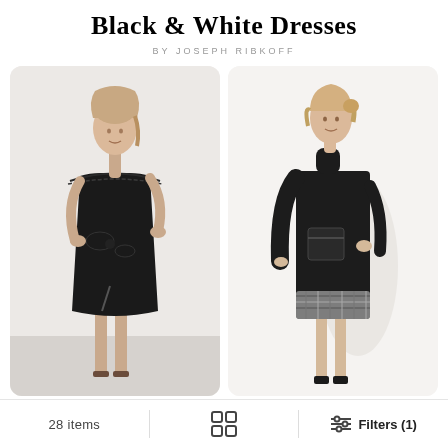Black & White Dresses
BY JOSEPH RIBKOFF
[Figure (photo): Model wearing a black off-shoulder lace-trim dress with bow detail and front slit, standing against a light grey background]
[Figure (photo): Model wearing a black turtleneck dress with houndstooth hem panel and patch pocket detail, standing against a white background]
28 items
[Figure (other): Grid/layout toggle icon]
Filters (1)